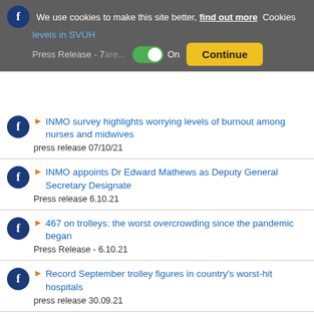We use cookies to make this site better, find out more Cookies levels in SVUH Press Release - 7are... On Continue
INMO survey highlights worrying levels of burnout among nurses and midwives
press release 07/10/21
INMO appoints Dr Edward Mathews as Deputy General Secretary Designate
Press release 6.10.21
467 on trolleys: the worst overcrowding since the pandemic began
Press Release - 6.10.21
Record September trolley figures in country's worst-hit hospitals
press release 30.09.21
Health unions call for “immediate” talks after Labour Court recommendation on COVID compensation
Press release 22.9.21
INMO Executive demands Sláintecare action
Press Release - 14.9.21
Sláintecare Needs “Urgent Recommitment” say Health Unions